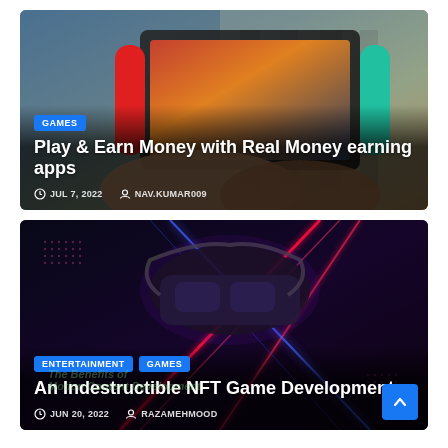[Figure (photo): Photo of hands holding a Nintendo Switch gaming console displaying colorful game art, with a zebra-print background]
GAMES
Play & Earn Money with Real Money earning apps
JUL 7, 2022   NAV.KUMAR009
[Figure (photo): Dark neon-lit image of a VR headset with red and blue neon light streaks on a dark background]
ENTERTAINMENT   GAMES
An Indestructible NFT Game Development
JUN 20, 2022   RAZAMEHMOOD